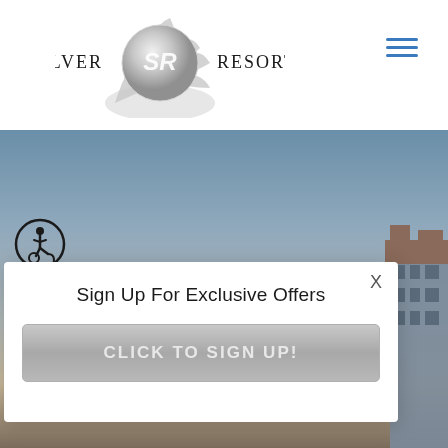[Figure (logo): Silver SR Resorts logo with circular SR emblem and palm/flower motif]
[Figure (other): Hamburger menu icon with three blue horizontal lines]
[Figure (photo): Background photo of resort building and sky at dusk]
[Figure (other): Wheelchair accessibility icon in circle]
Sign Up For Exclusive Offers
CLICK TO SIGN UP!